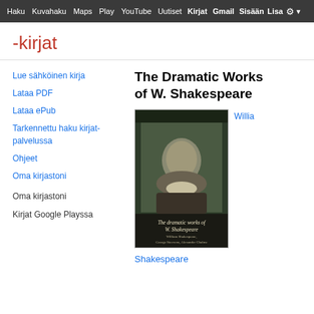Haku  Kuvahaku  Maps  Play  YouTube  Uutiset  Kirjat  Gmail  Sisään  Lisa ⚙ ▾
-kirjat
Lue sähköinen kirja
Lataa PDF
Lataa ePub
Tarkennettu haku kirjat-palvelussa
Ohjeet
Oma kirjastoni
Oma kirjastoni
Kirjat Google Playssa
The Dramatic Works of W. Shakespeare
[Figure (photo): Book cover of 'The dramatic works of W. Shakespeare' showing a portrait engraving of Shakespeare with text at the bottom listing William Shakespeare, George Steevens, Alexander Chalmers]
Willia
Shakespeare